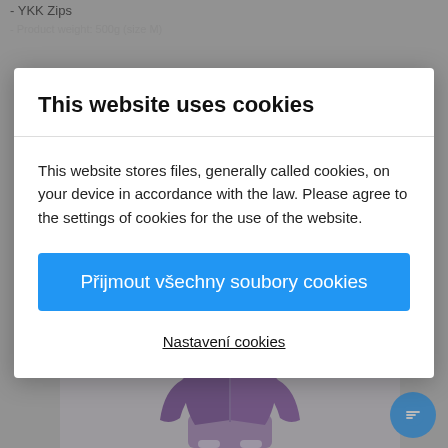- YKK Zips
- Product weight: 500g (size M)
[Figure (screenshot): Cookie consent modal overlay on an e-commerce website showing a jacket product page in the background]
This website uses cookies
This website stores files, generally called cookies, on your device in accordance with the law. Please agree to the settings of cookies for the use of the website.
Přijmout všechny soubory cookies
Nastavení cookies